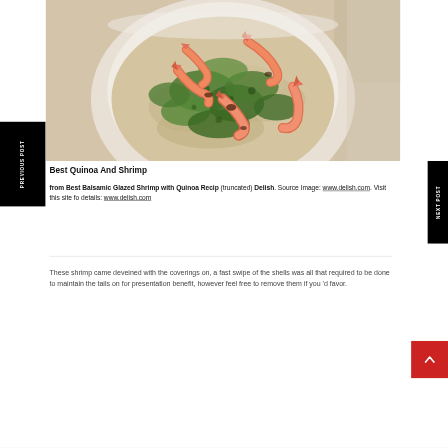[Figure (photo): A white bowl filled with quinoa, chopped green herbs, and balsamic glazed shrimp on top, viewed from above on a light textured surface.]
Best Quinoa And Shrimp
from Best Balsamic Glazed Shrimp with Quinoa Recipe - Delish. Source Image: www.delish.com. Visit this site for details: www.delish.com
These shrimp came deveined with the coverings on, a fast swipe of the shells was all that required to be done to maintain the tails on for presentation benefit, however feel free to remove them if you 'd favor.